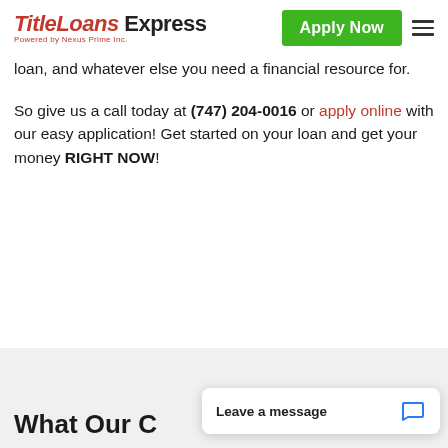TitleLoans Express Powered by Nexus Prime Inc. | Apply Now
loan, and whatever else you need a financial resource for.
So give us a call today at (747) 204-0016 or apply online with our easy application! Get started on your loan and get your money RIGHT NOW!
What Our C
Leave a message